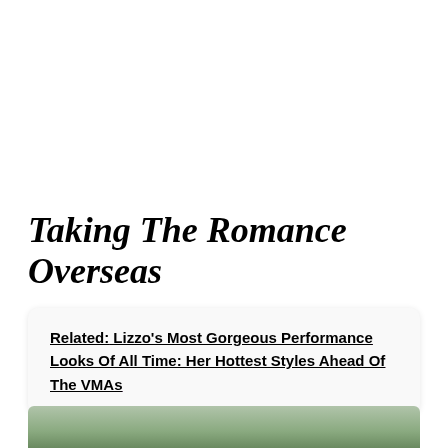Taking The Romance Overseas
Related: Lizzo's Most Gorgeous Performance Looks Of All Time: Her Hottest Styles Ahead Of The VMAs
[Figure (photo): Bottom edge of a photo showing a person outdoors with greenery in background]